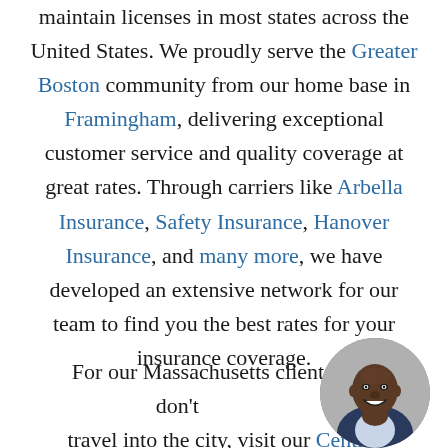maintain licenses in most states across the United States. We proudly serve the Greater Boston community from our home base in Framingham, delivering exceptional customer service and quality coverage at great rates. Through carriers like Arbella Insurance, Safety Insurance, Hanover Insurance, and many more, we have developed an extensive network for our team to find you the best rates for your insurance coverage.
For our Massachusetts clients who don't travel into the city, visit our Central Massachusetts office in Leominster. This location provides...
[Figure (photo): Circular portrait photo of a smiling man in a suit, positioned in the lower right corner]